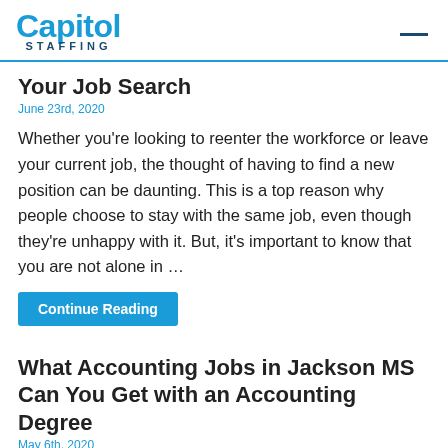Capitol Staffing
Your Job Search
June 23rd, 2020
Whether you're looking to reenter the workforce or leave your current job, the thought of having to find a new position can be daunting. This is a top reason why people choose to stay with the same job, even though they're unhappy with it. But, it's important to know that you are not alone in …
Continue Reading
What Accounting Jobs in Jackson MS Can You Get with an Accounting Degree
May 6th, 2020